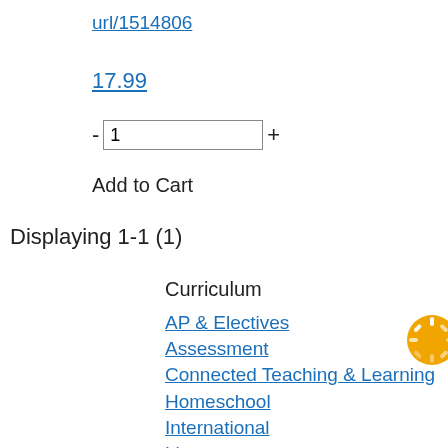url/1514806
17.99
- 1 +
Add to Cart
Displaying 1-1 (1)
Curriculum
AP & Electives
Assessment
Connected Teaching & Learning
Homeschool
International
Literacy
Math
Professional Development
Science
Social Studies
State-Specific Solutions
[Figure (illustration): Orange spinning/loading circle icon]